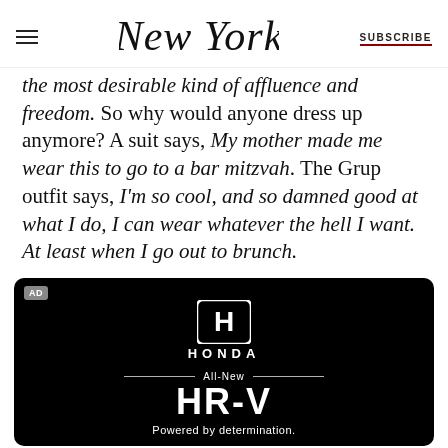New York | SUBSCRIBE
the most desirable kind of affluence and freedom. So why would anyone dress up anymore? A suit says, My mother made me wear this to go to a bar mitzvah. The Grup outfit says, I'm so cool, and so damned good at what I do, I can wear whatever the hell I want. At least when I go out to brunch.
[Figure (advertisement): Honda advertisement with Honda logo, 'All-New HR-V', and 'Powered by determination.' text on black background]